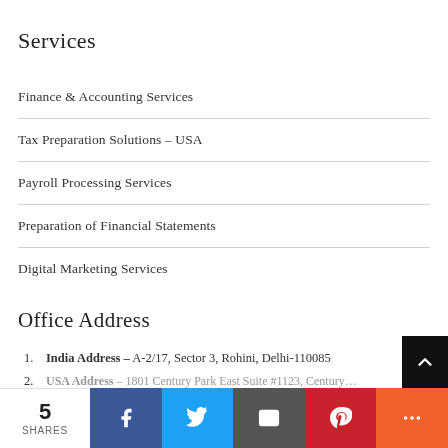Services
Finance & Accounting Services
Tax Preparation Solutions – USA
Payroll Processing Services
Preparation of Financial Statements
Digital Marketing Services
Office Address
India Address – A-2/17, Sector 3, Rohini, Delhi-110085
5 SHARES | Facebook | Twitter | Email | Pinterest | More